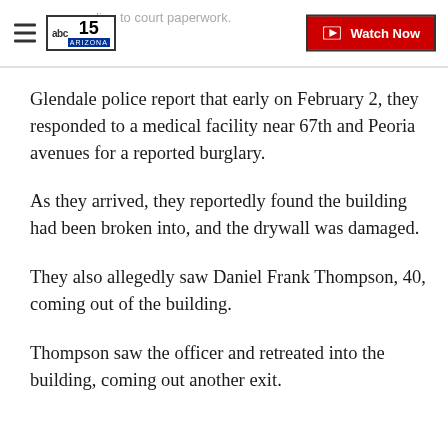according to court paperwork. [ABC15 Arizona logo] [Watch Now button]
Glendale police report that early on February 2, they responded to a medical facility near 67th and Peoria avenues for a reported burglary.
As they arrived, they reportedly found the building had been broken into, and the drywall was damaged.
They also allegedly saw Daniel Frank Thompson, 40, coming out of the building.
Thompson saw the officer and retreated into the building, coming out another exit.